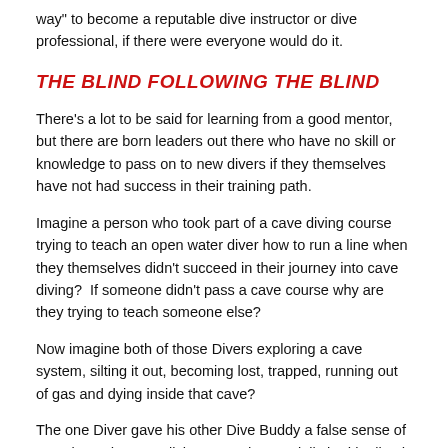way" to become a reputable dive instructor or dive professional, if there were everyone would do it.
THE BLIND FOLLOWING THE BLIND
There’s a lot to be said for learning from a good mentor, but there are born leaders out there who have no skill or knowledge to pass on to new divers if they themselves have not had success in their training path.
Imagine a person who took part of a cave diving course trying to teach an open water diver how to run a line when they themselves didn’t succeed in their journey into cave diving?  If someone didn’t pass a cave course why are they trying to teach someone else?
Now imagine both of those Divers exploring a cave system, silting it out, becoming lost, trapped, running out of gas and dying inside that cave?
The one Diver gave his other Dive Buddy a false sense of security and accomplishment and essentially had he lived, could’ve